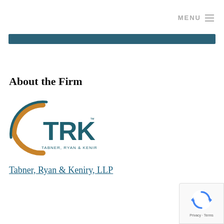MENU
[Figure (other): Teal horizontal banner bar]
About the Firm
[Figure (logo): TRK Tabner, Ryan & Keniry, LLP logo — teal arc and dark teal letters TRK with firm name below]
Tabner, Ryan & Keniry, LLP